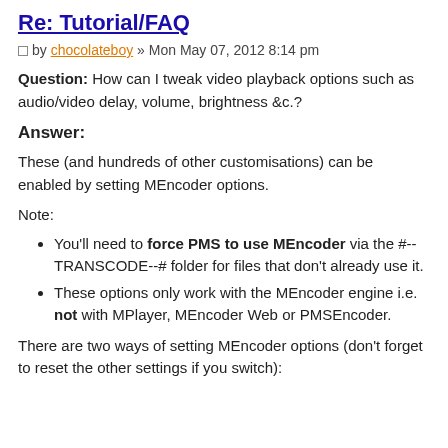Re: Tutorial/FAQ
by chocolateboy » Mon May 07, 2012 8:14 pm
Question: How can I tweak video playback options such as audio/video delay, volume, brightness &c.?
Answer:
These (and hundreds of other customisations) can be enabled by setting MEncoder options.
Note:
You'll need to force PMS to use MEncoder via the #--TRANSCODE--# folder for files that don't already use it.
These options only work with the MEncoder engine i.e. not with MPlayer, MEncoder Web or PMSEncoder.
There are two ways of setting MEncoder options (don't forget to reset the other settings if you switch):